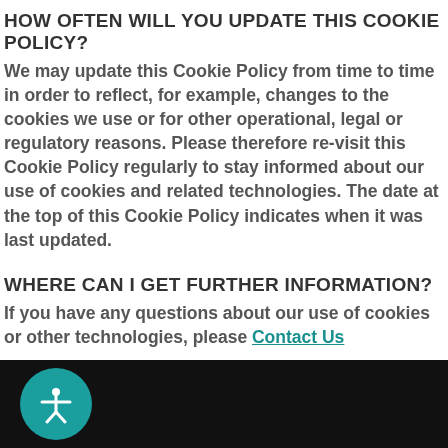HOW OFTEN WILL YOU UPDATE THIS COOKIE POLICY?
We may update this Cookie Policy from time to time in order to reflect, for example, changes to the cookies we use or for other operational, legal or regulatory reasons. Please therefore re-visit this Cookie Policy regularly to stay informed about our use of cookies and related technologies. The date at the top of this Cookie Policy indicates when it was last updated.
WHERE CAN I GET FURTHER INFORMATION?
If you have any questions about our use of cookies or other technologies, please Contact Us
[Figure (other): Black footer bar with a teal circular accessibility icon (person with arms outstretched)]